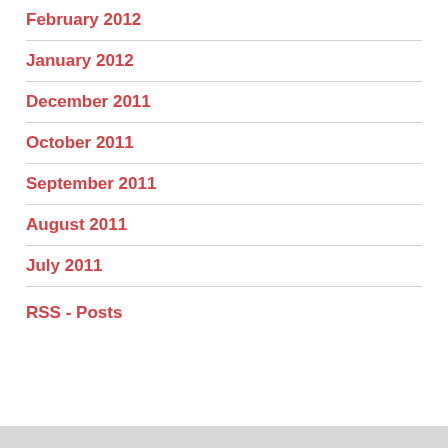February 2012
January 2012
December 2011
October 2011
September 2011
August 2011
July 2011
RSS - Posts